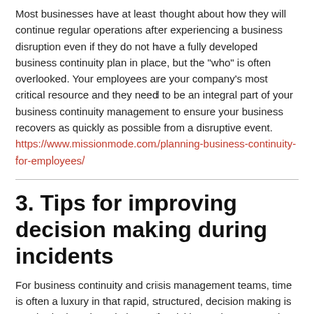Most businesses have at least thought about how they will continue regular operations after experiencing a business disruption even if they do not have a fully developed business continuity plan in place, but the "who" is often overlooked. Your employees are your company's most critical resource and they need to be an integral part of your business continuity management to ensure your business recovers as quickly as possible from a disruptive event. https://www.missionmode.com/planning-business-continuity-for-employees/
3. Tips for improving decision making during incidents
For business continuity and crisis management teams, time is often a luxury in that rapid, structured, decision making is required. There is a plethora of activities and structures that we...